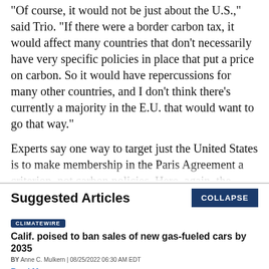“Of course, it would not be just about the U.S.,” said Trio. “If there were a border carbon tax, it would affect many countries that don’t necessarily have very specific policies in place that put a price on carbon. So it would have repercussions for many other countries, and I don’t think there’s currently a majority in the E.U. that would want to go that way.”
Experts say one way to target just the United States is to make membership in the Paris Agreement a criterion, not carbon policies. Here, again, the timing isn’t right — the
Suggested Articles
COLLAPSE
CLIMATEWIRE
Calif. poised to ban sales of new gas-fueled cars by 2035
BY Anne C. Mulkern | 08/25/2022 06:30 AM EDT
Read More >>
CLIMATEWIRE
Climate law seen driving ‘demand destruction for fossil fuels’